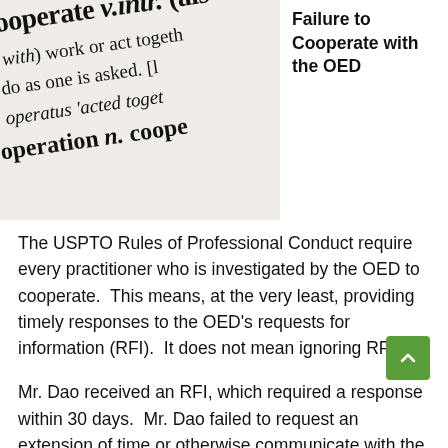[Figure (photo): Close-up photograph of a dictionary page showing the entry for 'cooperate' and related words like 'operation', with bold and italic serif typeface text]
Failure to Cooperate with the OED
The USPTO Rules of Professional Conduct require every practitioner who is investigated by the OED to cooperate.  This means, at the very least, providing timely responses to the OED's requests for information (RFI).  It does not mean ignoring RFIs.
Mr. Dao received an RFI, which required a response within 30 days.  Mr. Dao failed to request an extension of time or otherwise communicate with the OED.  Six months later, Mr. Dao finally replied to the RFI.  He apologized but evidently never provided an explanation or reason for his five-month